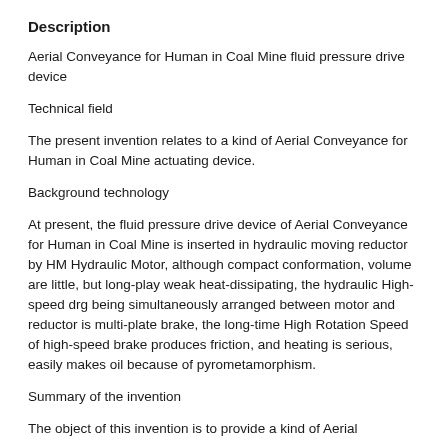Description
Aerial Conveyance for Human in Coal Mine fluid pressure drive device
Technical field
The present invention relates to a kind of Aerial Conveyance for Human in Coal Mine actuating device.
Background technology
At present, the fluid pressure drive device of Aerial Conveyance for Human in Coal Mine is inserted in hydraulic moving reductor by HM Hydraulic Motor, although compact conformation, volume are little, but long-play weak heat-dissipating, the hydraulic High-speed drg being simultaneously arranged between motor and reductor is multi-plate brake, the long-time High Rotation Speed of high-speed brake produces friction, and heating is serious, easily makes oil because of pyrometamorphism.
Summary of the invention
The object of this invention is to provide a kind of Aerial